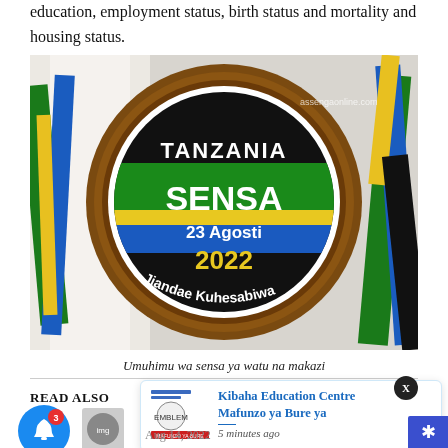education, employment status, birth status and mortality and housing status.
[Figure (photo): A circular framed emblem/badge for Tanzania Sensa (Census) dated 23 Agosti 2022 with text 'Jiandae Kuhesabiwa', displayed against a backdrop of colorful ribbons in Tanzania flag colors (green, yellow, blue, black). Watermark: assengaonline.com]
Umuhimu wa sensa ya watu na makazi
READ ALSO
[Figure (photo): Notification bell icon with badge showing 3, and a small thumbnail image below it]
[Figure (photo): Popup card showing Kibaha Education Centre logo and text: Kibaha Education Centre Mafunzo ya Bure ya, with timestamp 5 minutes ago]
Aug 14, 2022